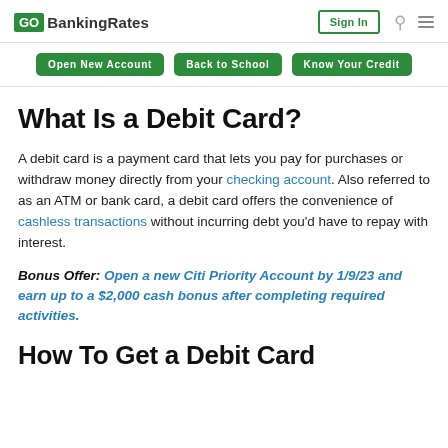GO BankingRates | Sign In | [search] [menu]
Open New Account | Back to School | Know Your Credit
What Is a Debit Card?
A debit card is a payment card that lets you pay for purchases or withdraw money directly from your checking account. Also referred to as an ATM or bank card, a debit card offers the convenience of cashless transactions without incurring debt you'd have to repay with interest.
Bonus Offer: Open a new Citi Priority Account by 1/9/23 and earn up to a $2,000 cash bonus after completing required activities.
How To Get a Debit Card